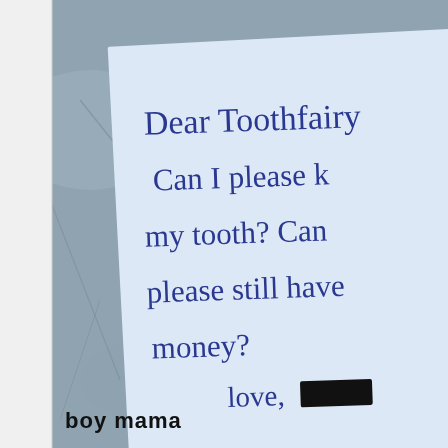[Figure (photo): A photograph of a handwritten note on light blue paper set against a grey stone/marble surface. The note reads: 'Dear Toothfairy, Can I please k[eep] my tooth? Can [I] please still have money? love,' followed by a redacted name. The bottom of the image shows the text 'boy mama' in bold.]
Dear Toothfairy, Can I please keep my tooth? Can I please still have money? love, [REDACTED]
boy mama